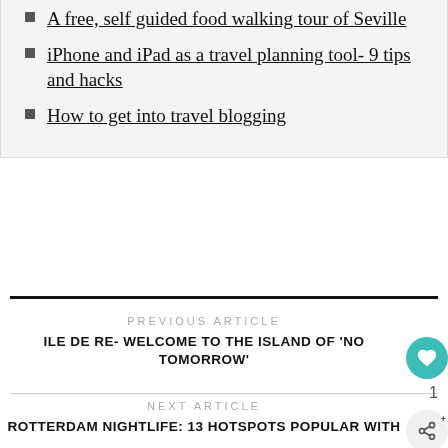A free, self guided food walking tour of Seville
iPhone and iPad as a travel planning tool- 9 tips and hacks
How to get into travel blogging
PREVIOUS ARTICLE
ILE DE RE- WELCOME TO THE ISLAND OF 'NO TOMORROW'
NEXT ARTICLE
ROTTERDAM NIGHTLIFE: 13 HOTSPOTS POPULAR WITH